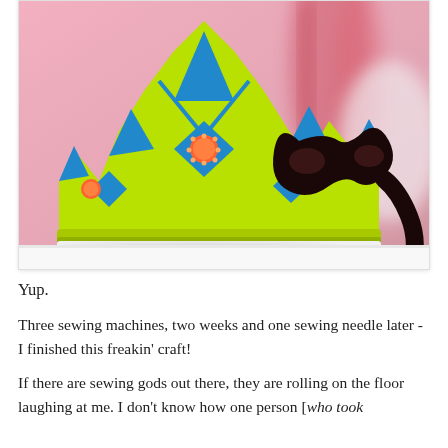[Figure (photo): A handmade felt crown in bright green with blue diamond shapes and orange jewel embellishments, alongside a dark brown/black felt masquerade mask, both placed on a white surface with a pink blurred background.]
Yup.
Three sewing machines, two weeks and one sewing needle later - I finished this freakin' craft!
If there are sewing gods out there, they are rolling on the floor laughing at me. I don't know how one person [who took